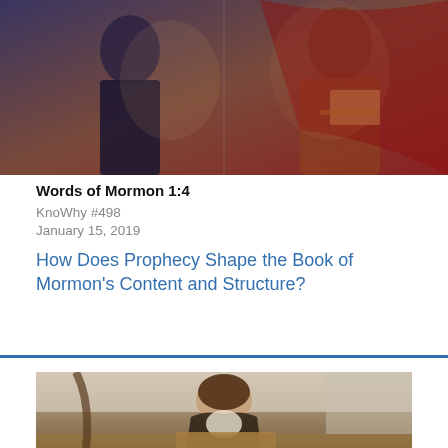[Figure (photo): Illustrated painting showing two figures — one in modern clothing on the left, one in ancient/biblical robes on the right holding a book and document]
Words of Mormon 1:4
KnoWhy #498
January 15, 2019
How Does Prophecy Shape the Book of Mormon's Content and Structure?
[Figure (photo): Photograph of a young man in period/historical clothing bending over and writing or reading from a book]